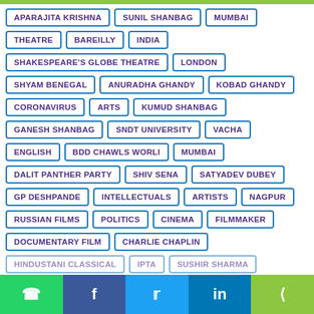APARAJITA KRISHNA
SUNIL SHANBAG
MUMBAI
THEATRE
BAREILLY
INDIA
SHAKESPEARE'S GLOBE THEATRE
LONDON
SHYAM BENEGAL
ANURADHA GHANDY
KOBAD GHANDY
CORONAVIRUS
ARTS
KUMUD SHANBAG
GANESH SHANBAG
SNDT UNIVERSITY
VACHA
ENGLISH
BDD CHAWLS WORLI
MUMBAI
DALIT PANTHER PARTY
SHIV SENA
SATYADEV DUBEY
GP DESHPANDE
INTELLECTUALS
ARTISTS
NAGPUR
RUSSIAN FILMS
POLITICS
CINEMA
FILMMAKER
DOCUMENTARY FILM
CHARLIE CHAPLIN
HINDUSTANI CLASSICAL
IPTA
SUSHIR SHARMA